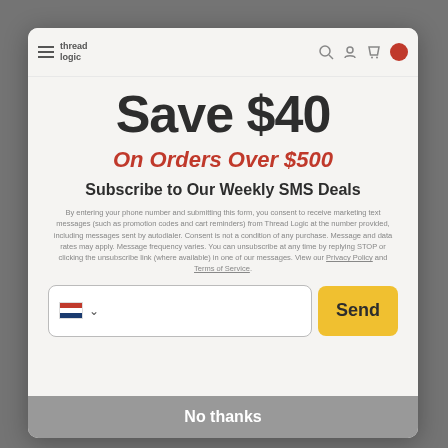Thread Logic
Save $40
On Orders Over $500
Subscribe to Our Weekly SMS Deals
By entering your phone number and submitting this form, you consent to receive marketing text messages (such as promotion codes and cart reminders) from Thread Logic at the number provided, including messages sent by autodialer. Consent is not a condition of any purchase. Message and data rates may apply. Message frequency varies. You can unsubscribe at any time by replying STOP or clicking the unsubscribe link (where available) in one of our messages. View our Privacy Policy and Terms of Service.
No thanks